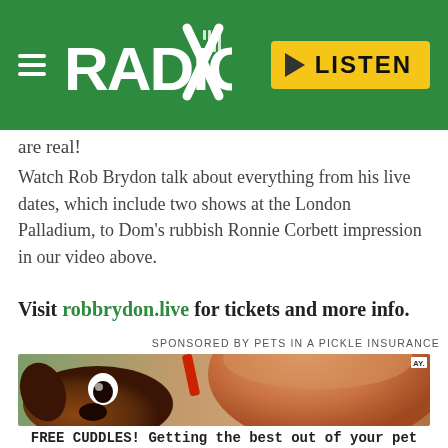Radio X | LISTEN
are real!
Watch Rob Brydon talk about everything from his live dates, which include two shows at the London Palladium, to Dom's rubbish Ronnie Corbett impression in our video above.
Visit robbrydon.live for tickets and more info.
SPONSORED BY PETS IN A PICKLE INSURANCE
[Figure (photo): A brown dog peering over someone's shoulder, with a person's head in foreground and a red object visible. Photo credit AY.]
FREE CUDDLES! Getting the best out of your pet